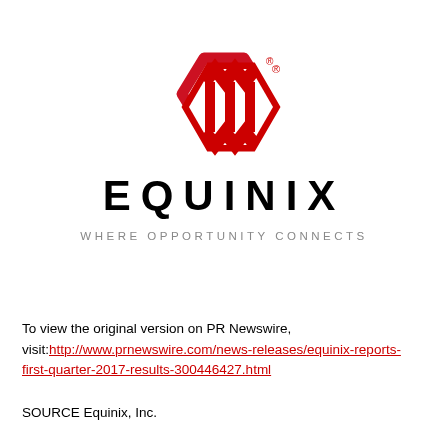[Figure (logo): Equinix logo — red hexagonal icon with stylized zigzag lines and registered trademark symbol, above the wordmark EQUINIX in bold black letters with tagline WHERE OPPORTUNITY CONNECTS in grey]
To view the original version on PR Newswire, visit:http://www.prnewswire.com/news-releases/equinix-reports-first-quarter-2017-results-300446427.html
SOURCE Equinix, Inc.